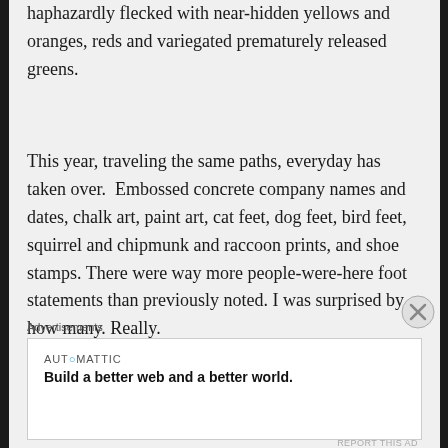haphazardly flecked with near-hidden yellows and oranges, reds and variegated prematurely released greens.
This year, traveling the same paths, everyday has taken over.  Embossed concrete company names and dates, chalk art, paint art, cat feet, dog feet, bird feet, squirrel and chipmunk and raccoon prints, and shoe stamps. There were way more people-were-here foot statements than previously noted. I was surprised by how many. Really.
Attributed to inconsiderate via abuse, patterned imprints in repeat and array, made me wonder.
Could there really be that many destructively
Advertisements
[Figure (other): Automattic advertisement banner showing logo and tagline 'Build a better web and a better world.']